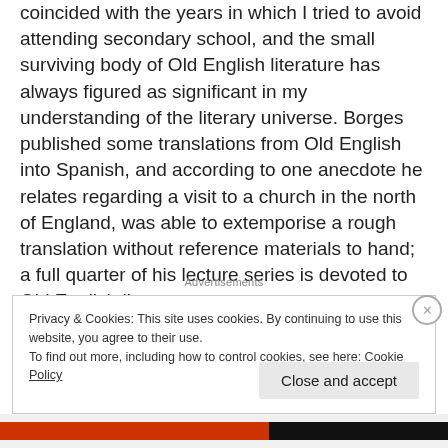coincided with the years in which I tried to avoid attending secondary school, and the small surviving body of Old English literature has always figured as significant in my understanding of the literary universe. Borges published some translations from Old English into Spanish, and according to one anecdote he relates regarding a visit to a church in the north of England, was able to extemporise a rough translation without reference materials to hand; a full quarter of his lecture series is devoted to Old English literature.
Advertisements
Privacy & Cookies: This site uses cookies. By continuing to use this website, you agree to their use.
To find out more, including how to control cookies, see here: Cookie Policy
Close and accept